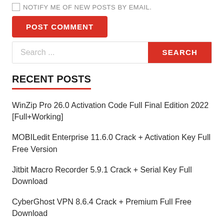NOTIFY ME OF NEW POSTS BY EMAIL.
POST COMMENT
Search ...
SEARCH
RECENT POSTS
WinZip Pro 26.0 Activation Code Full Final Edition 2022 [Full+Working]
MOBILedit Enterprise 11.6.0 Crack + Activation Key Full Free Version
Jitbit Macro Recorder 5.9.1 Crack + Serial Key Full Download
CyberGhost VPN 8.6.4 Crack + Premium Full Free Download
Driver Doc 2022 Serial Key Full Cracked Free...